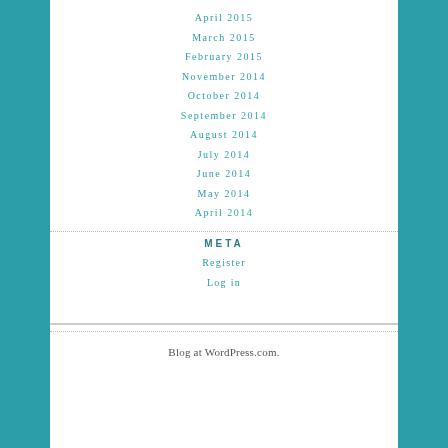April 2015
March 2015
February 2015
November 2014
October 2014
September 2014
August 2014
July 2014
June 2014
May 2014
April 2014
META
Register
Log in
Blog at WordPress.com.